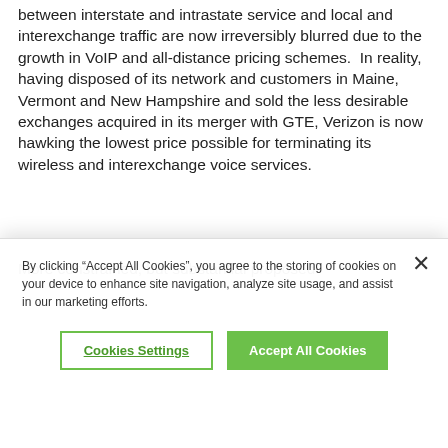between interstate and intrastate service and local and interexchange traffic are now irreversibly blurred due to the growth in VoIP and all-distance pricing schemes.  In reality, having disposed of its network and customers in Maine, Vermont and New Hampshire and sold the less desirable exchanges acquired in its merger with GTE, Verizon is now hawking the lowest price possible for terminating its wireless and interexchange voice services.
More constrained, but substantial proposed
By clicking "Accept All Cookies", you agree to the storing of cookies on your device to enhance site navigation, analyze site usage, and assist in our marketing efforts.